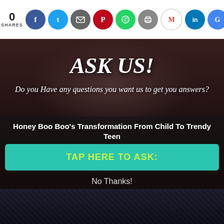0 SHARES — social share icons: Facebook, Twitter, Email, Pinterest, WhatsApp, Print, Gmail, LinkedIn, Google
[Figure (photo): Dark background image of a person, overlaid with a modal popup asking 'ASK US!' with subtitle 'Do you Have any questions you want us to get you answers?' and a teal button 'TAP HERE TO ASK:' and 'No Thanks!' text. Also shows article title 'Honey Boo Boo's Transformation From Child To Trendy Teen']
ASK US!
Do you Have any questions you want us to get you answers?
Honey Boo Boo's Transformation From Child To Trendy Teen
TAP HERE TO ASK:
No Thanks!